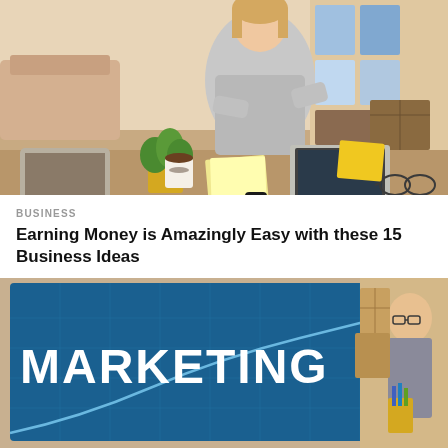[Figure (photo): Woman sitting at a desk working on a laptop, with a tablet, notebook, coffee cup, and small plant nearby. Home office setting with shelves in background.]
BUSINESS
Earning Money is Amazingly Easy with these 15 Business Ideas
[Figure (photo): A computer monitor displaying the word MARKETING with a graph on a blue background. A person is partially visible on the right side of the image looking at the screen.]